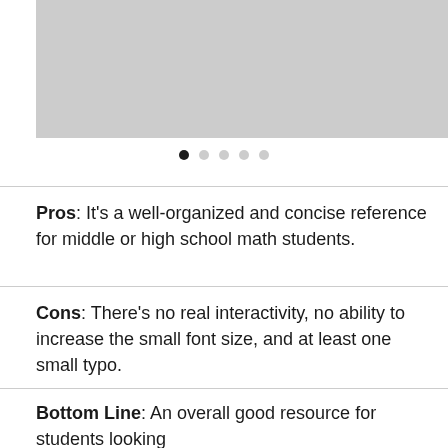[Figure (photo): Gray image placeholder showing a screenshot or photo, partially visible, with a narrow strip on the right side]
Pros: It's a well-organized and concise reference for middle or high school math students.
Cons: There's no real interactivity, no ability to increase the small font size, and at least one small typo.
Bottom Line: An overall good resource for students looking